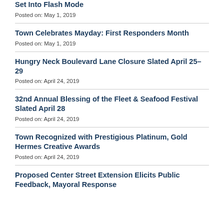Set Into Flash Mode
Posted on: May 1, 2019
Town Celebrates Mayday: First Responders Month
Posted on: May 1, 2019
Hungry Neck Boulevard Lane Closure Slated April 25–29
Posted on: April 24, 2019
32nd Annual Blessing of the Fleet & Seafood Festival Slated April 28
Posted on: April 24, 2019
Town Recognized with Prestigious Platinum, Gold Hermes Creative Awards
Posted on: April 24, 2019
Proposed Center Street Extension Elicits Public Feedback, Mayoral Response